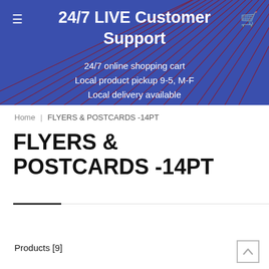24/7 LIVE Customer Support
24/7 online shopping cart
Local product pickup 9-5, M-F
Local delivery available
Home | FLYERS & POSTCARDS -14PT
FLYERS & POSTCARDS -14PT
Products [9]